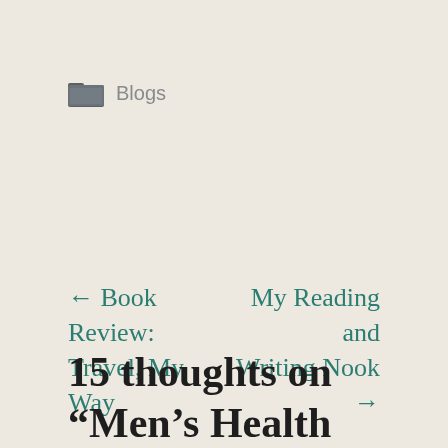Blogs
← Book Review: Travel, My Way
My Reading and Writing Nook →
15 thoughts on “Men’s Health